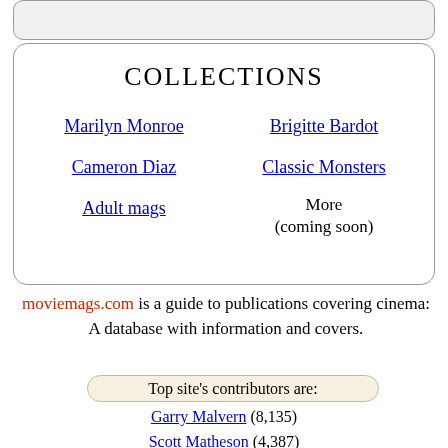COLLECTIONS
Marilyn Monroe
Brigitte Bardot
Cameron Diaz
Classic Monsters
Adult mags
More (coming soon)
moviemags.com is a guide to publications covering cinema: A database with information and covers.
Top site's contributors are:
Garry Malvern (8,135)
Scott Matheson (4,387)
Mike (290)
Vitelloni (250)
Stefan (250)
Brian Poynton (217)
Grace (180)
Debi Ziemkowski (121)
Gary (108)
Tim Kupey (71)